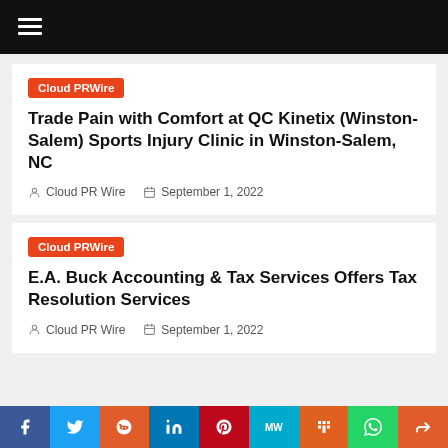≡
Cloud PRWire
Trade Pain with Comfort at QC Kinetix (Winston-Salem) Sports Injury Clinic in Winston-Salem, NC
Cloud PR Wire   September 1, 2022
Cloud PRWire
E.A. Buck Accounting & Tax Services Offers Tax Resolution Services
Cloud PR Wire   September 1, 2022